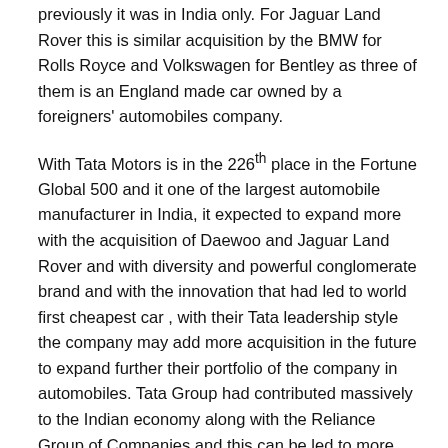previously it was in India only. For Jaguar Land Rover this is similar acquisition by the BMW for Rolls Royce and Volkswagen for Bentley as three of them is an England made car owned by a foreigners' automobiles company.
With Tata Motors is in the 226th place in the Fortune Global 500 and it one of the largest automobile manufacturer in India, it expected to expand more with the acquisition of Daewoo and Jaguar Land Rover and with diversity and powerful conglomerate brand and with the innovation that had led to world first cheapest car , with their Tata leadership style the company may add more acquisition in the future to expand further their portfolio of the company in automobiles. Tata Group had contributed massively to the Indian economy along with the Reliance Group of Companies and this can be led to more car to be made by the company that will be able to cater for worldwide and not only for Indian markets.
Share this: